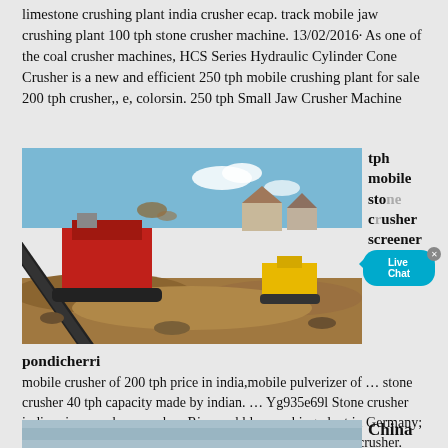limestone crushing plant india crusher ecap. track mobile jaw crushing plant 100 tph stone crusher machine. 13/02/2016· As one of the coal crusher machines, HCS Series Hydraulic Cylinder Cone Crusher is a new and efficient 250 tph mobile crushing plant for sale 200 tph crusher,, e, colorsin. 250 tph Small Jaw Crusher Machine
[Figure (photo): Mobile stone crushing and screening machine in operation at a construction/demolition site, with a red crusher and conveyor belt visible against a blue sky background.]
tph mobile stone crusher screener price
pondicherri
mobile crusher of 200 tph price in india,mobile pulverizer of … stone crusher 40 tph capacity made by indian. … Yg935e69l Stone crusher india price … where can buy River pebbles crushing plant in Germany; Get Price. hartl s hcs germany make 200 tph stone crusher | crusher.
[Figure (photo): Partial view of another image at the bottom of the page, showing blue/grey tones.]
China